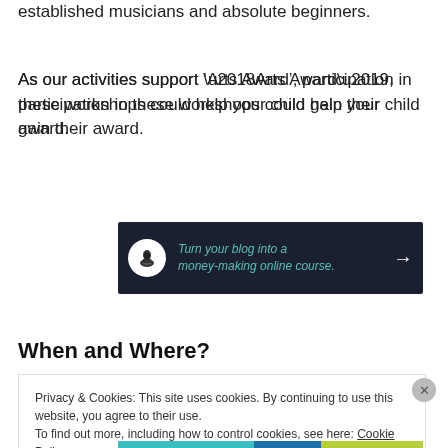established musicians and absolute beginners.
As our activities support ‘Arts Award’, participation in these workshops could help your child gain their award.
[Figure (other): Advertisement banner with dark background: 'Turn your blog into a money-making online course.' with arrow, labeled 'Advertisements']
When and Where?
Privacy & Cookies: This site uses cookies. By continuing to use this website, you agree to their use.
To find out more, including how to control cookies, see here: Cookie Policy
Close and accept